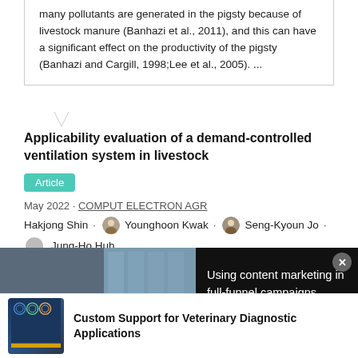many pollutants are generated in the pigsty because of livestock manure (Banhazi et al., 2011), and this can have a significant effect on the productivity of the pigsty (Banhazi and Cargill, 1998;Lee et al., 2005). ...
Applicability evaluation of a demand-controlled ventilation system in livestock
Article
May 2022 · COMPUT ELECTRON AGR
Hakjong Shin · Younghoon Kwak · Seng-Kyoun Jo · Jung-Ho Huh
[Figure (screenshot): Video advertisement overlay showing 'Using content marketing in full-funnel campaigns' with a thumbnail of people working at a desk with a play button, and a close button.]
[Figure (photo): Advertisement for Custom Support for Veterinary Diagnostic Applications with a dark blue book cover image and yellow stripe.]
Custom Support for Veterinary Diagnostic Applications